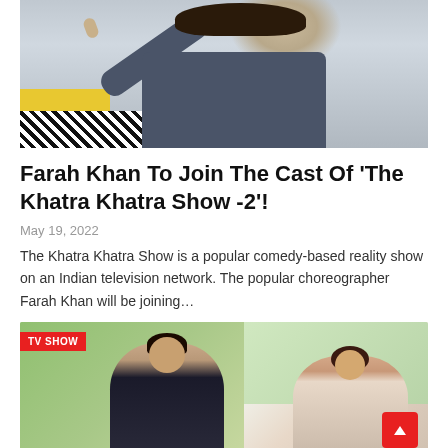[Figure (photo): A person in a dark blue/gray outfit pointing upward with their index finger, seated against a light background with a yellow accent and black-and-white patterned cushion]
Farah Khan To Join The Cast Of 'The Khatra Khatra Show -2'!
May 19, 2022
The Khatra Khatra Show is a popular comedy-based reality show on an Indian television network. The popular choreographer Farah Khan will be joining...
[Figure (photo): Two people smiling outdoors with green plants in the background. A 'TV SHOW' red badge is in the top-left corner. A red scroll-to-top button is in the bottom-right corner.]